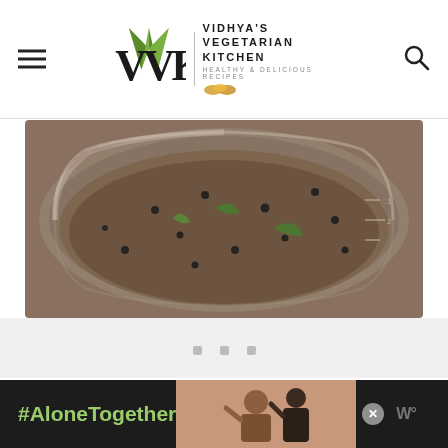VVK - Vidhya's Vegetarian Kitchen - Healthy & Delicious Recipes
[Figure (photo): Top-down view of a steel pot/instant pot inner bowl containing dark broth with black peppercorns and green herb leaves floating on the surface. The metallic bowl shows measurement markings on the side.]
[Figure (other): Advertisement banner with dark background showing #AloneTogether text in green, a photo of a father and child waving/video calling, an X close button, and a W logo mark on the right.]